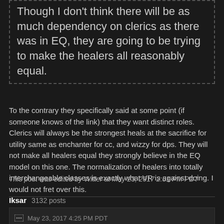Though I don't think there will be as much dependency on clerics as there was in EQ, they are going to be trying to make the healers all reasonably equal.
To the contrary they specifically said at some point (if someone knows of the link) that they want distinct roles. Clerics will always be the strongest heals at the sacrifice for utility same as enchanter for cc, and wizzy for dps. They will not make all healers equal they strongly believe in the EQ model on this one. The normalization of healers into totally interchangeable classes is exactly what VR is against doing. I would not fret over this.

-W
This post was edited by Witter at May 23, 2017 2:51 PM PDT
Iksar  3132 posts
May 23, 2017 4:25 PM PDT